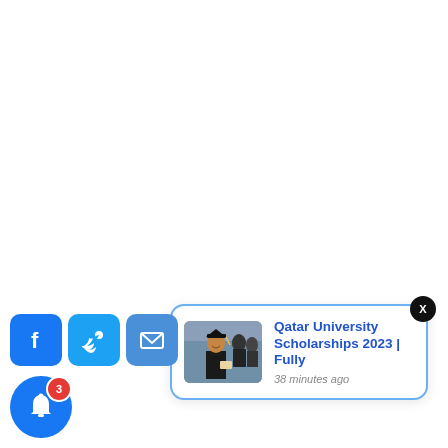[Figure (screenshot): Push notification card showing 'Qatar University Scholarships 2023 | Fully' posted 38 minutes ago, with a graduation photo thumbnail and a close (X) button. Below are social share icons: Facebook, Twitter, Email, and a notification bell with badge count 3.]
Qatar University Scholarships 2023 | Fully
38 minutes ago
3